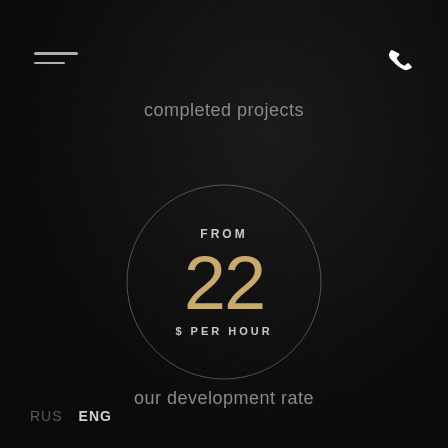[Figure (infographic): Dark textured background with diagonal pattern suggesting leather or embossed material]
completed projects
[Figure (infographic): Circular ring element containing pricing information: FROM 22 $ PER HOUR]
our development rate
RUS  ENG